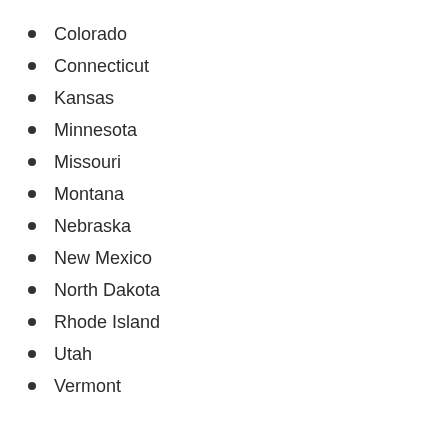Colorado
Connecticut
Kansas
Minnesota
Missouri
Montana
Nebraska
New Mexico
North Dakota
Rhode Island
Utah
Vermont